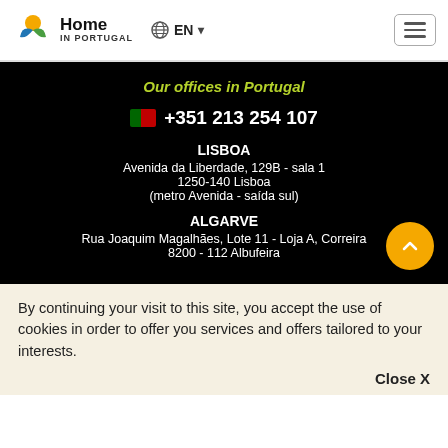[Figure (logo): Home in Portugal logo with colorful circular icon and bold text 'Home IN PORTUGAL']
Home IN PORTUGAL | EN | hamburger menu
Our offices in Portugal
+351 213 254 107
LISBOA
Avenida da Liberdade, 129B - sala 1
1250-140 Lisboa
(metro Avenida - saída sul)
ALGARVE
Rua Joaquim Magalhães, Lote 11 - Loja A, Correira
8200 - 112 Albufeira
By continuing your visit to this site, you accept the use of cookies in order to offer you services and offers tailored to your interests.
Close X